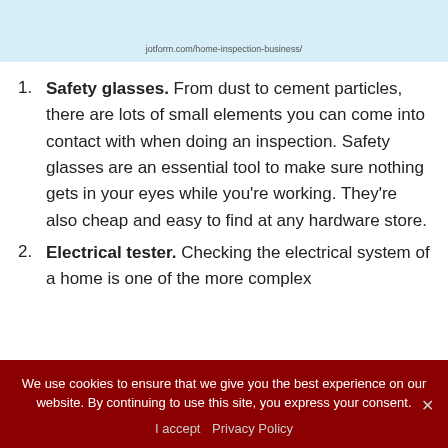[Figure (screenshot): Light blue banner with URL text: jotform.com/home-inspection-business/]
1. Safety glasses. From dust to cement particles, there are lots of small elements you can come into contact with when doing an inspection. Safety glasses are an essential tool to make sure nothing gets in your eyes while you're working. They're also cheap and easy to find at any hardware store.
2. Electrical tester. Checking the electrical system of a home is one of the more complex
We use cookies to ensure that we give you the best experience on our website. By continuing to use this site, you express your consent.
I accept   Privacy Policy